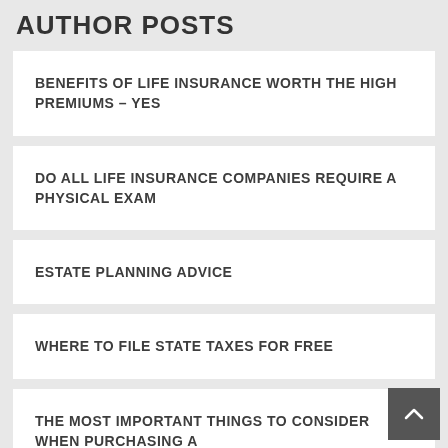AUTHOR POSTS
BENEFITS OF LIFE INSURANCE WORTH THE HIGH PREMIUMS – YES
DO ALL LIFE INSURANCE COMPANIES REQUIRE A PHYSICAL EXAM
ESTATE PLANNING ADVICE
WHERE TO FILE STATE TAXES FOR FREE
THE MOST IMPORTANT THINGS TO CONSIDER WHEN PURCHASING A